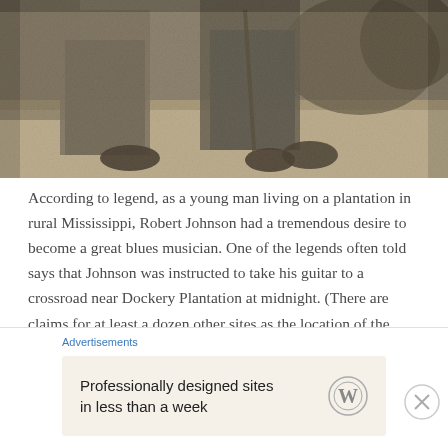[Figure (photo): Black and white vintage photograph showing the lower half of people standing, showing clothing (long skirt/dress) and shoes on a dirt path with foliage in the background.]
According to legend, as a young man living on a plantation in rural Mississippi, Robert Johnson had a tremendous desire to become a great blues musician. One of the legends often told says that Johnson was instructed to take his guitar to a crossroad near Dockery Plantation at midnight. (There are claims for at least a dozen other sites as the location of the crossroads.)There he was met by the Devil, who took the guitar and tuned it. The Devil
Advertisements
Professionally designed sites in less than a week